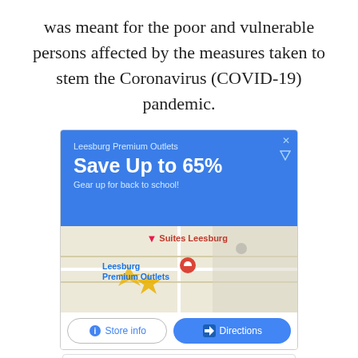was meant for the poor and vulnerable persons affected by the measures taken to stem the Coronavirus (COVID-19) pandemic.
[Figure (screenshot): Google advertisement for Leesburg Premium Outlets showing a blue banner with 'Save Up to 65% - Gear up for back to school!', a map view with location pin, and Store info / Directions buttons.]
[Figure (screenshot): Second Google advertisement for Leesburg Premium Outlets with text 'Back To School Essentials' and directions icon.]